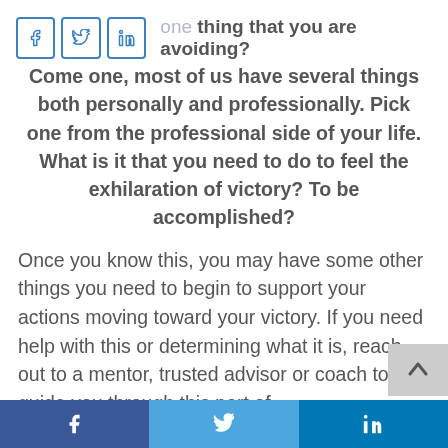What is the one thing that you are avoiding?
Come one, most of us have several things both personally and professionally. Pick one from the professional side of your life. What is it that you need to do to feel the exhilaration of victory? To be accomplished?
Once you know this, you may have some other things you need to begin to support your actions moving toward your victory. If you need help with this or determining what it is, reach out to a mentor, trusted advisor or coach to guide you through this part of
f  (Twitter bird)  in